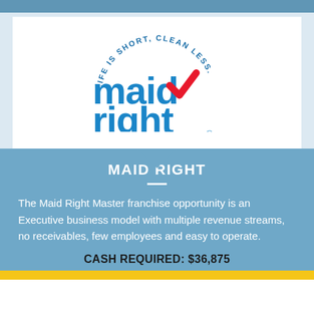[Figure (logo): Maid Right logo with red checkmark and circular text 'LIFE IS SHORT, CLEAN LESS.' in blue and red]
MAID RIGHT
The Maid Right Master franchise opportunity is an Executive business model with multiple revenue streams, no receivables, few employees and easy to operate.
CASH REQUIRED: $36,875